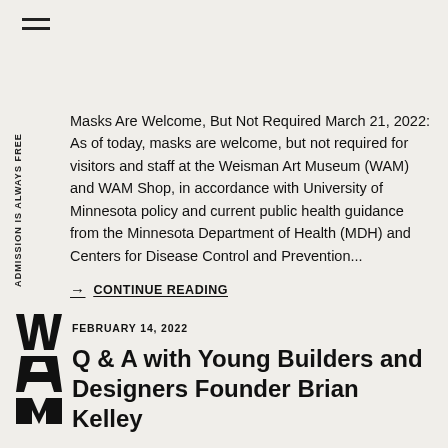≡
ADMISSION IS ALWAYS FREE
Masks Are Welcome, But Not Required March 21, 2022: As of today, masks are welcome, but not required for visitors and staff at the Weisman Art Museum (WAM) and WAM Shop, in accordance with University of Minnesota policy and current public health guidance from the Minnesota Department of Health (MDH) and Centers for Disease Control and Prevention...
→ CONTINUE READING
[Figure (logo): WAM logo in bold black stacked letters]
FEBRUARY 14, 2022
Q & A with Young Builders and Designers Founder Brian Kelley